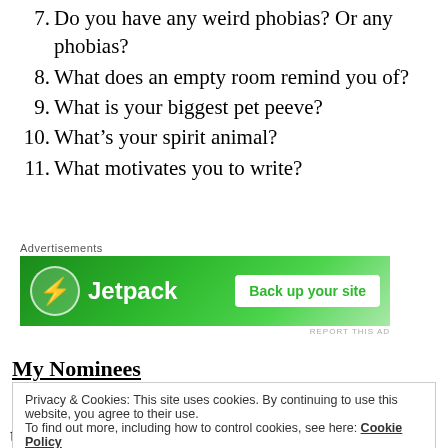7. Do you have any weird phobias? Or any phobias?
8. What does an empty room remind you of?
9. What is your biggest pet peeve?
10. What’s your spirit animal?
11. What motivates you to write?
[Figure (other): Jetpack advertisement banner with green background, Jetpack logo and 'Back up your site' button]
My Nominees
Privacy & Cookies: This site uses cookies. By continuing to use this website, you agree to their use. To find out more, including how to control cookies, see here: Cookie Policy
those amazing people who are reading this!